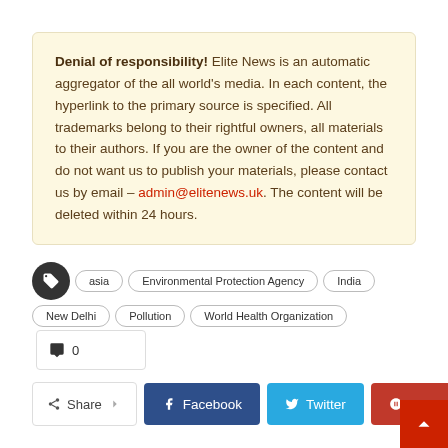Denial of responsibility! Elite News is an automatic aggregator of the all world's media. In each content, the hyperlink to the primary source is specified. All trademarks belong to their rightful owners, all materials to their authors. If you are the owner of the content and do not want us to publish your materials, please contact us by email – admin@elitenews.uk. The content will be deleted within 24 hours.
asia
Environmental Protection Agency
India
New Delhi
Pollution
World Health Organization
0
Share  Facebook  Twitter  Google+